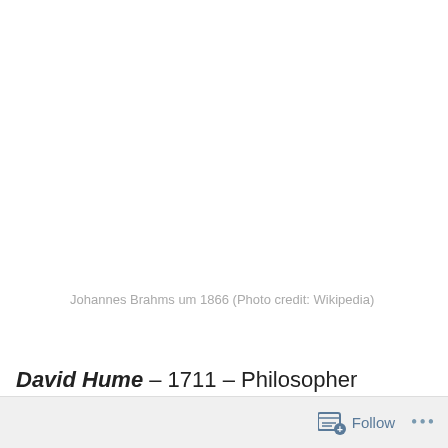Johannes Brahms um 1866 (Photo credit: Wikipedia)
David Hume – 1711 – Philosopher
“Beauty in things exists in the mind which contemplates them.”
Follow